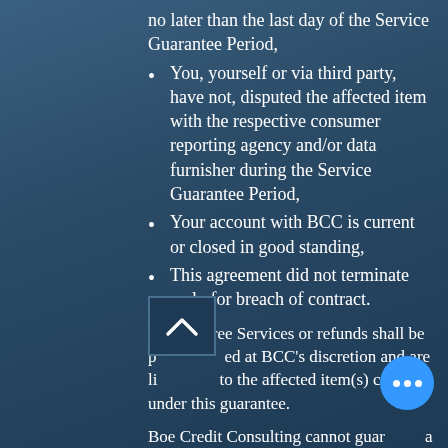no later than the last day of the Service Guarantee Period,
You, yourself or via third party, have not, disputed the affected item with the respective consumer reporting agency and/or data furnisher during the Service Guarantee Period,
Your account with BCC is current or closed in good standing,
This agreement did not terminate early for breach of contract.
NOTE: Free Services or refunds shall be provided at BCC's discretion and are limited to the affected item(s) covered under this guarantee.
Boe Credit Consulting cannot guarantee a specific outcome or result as it relates to